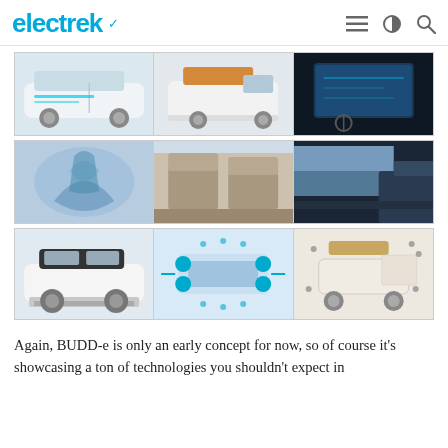electrek
[Figure (photo): Grid of 9 automotive concept car images showing exterior and interior views of the Volkswagen BUDD-e electric concept vehicle, arranged in 3 rows of 3 images each]
Again, BUDD-e is only an early concept for now, so of course it's showcasing a ton of technologies you shouldn't expect in